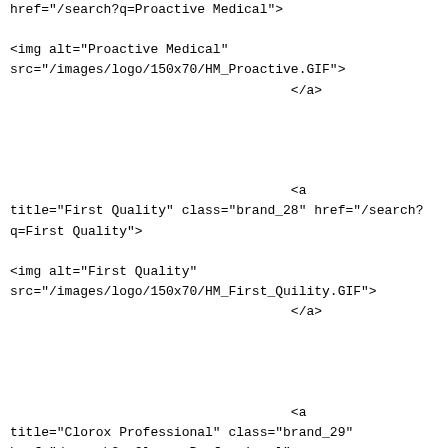href="/search?q=Proactive Medical">

<img alt="Proactive Medical"
src="/images/logo/150x70/HM_Proactive.GIF">
                                    </a>




                                    <a
title="First Quality" class="brand_28" href="/search?
q=First Quality">

<img alt="First Quality"
src="/images/logo/150x70/HM_First_Quility.GIF">
                                    </a>




                                    <a
title="Clorox Professional" class="brand_29"
href="/search?q=Clorox Professional">

<img alt="Clorox Professional"
src="/images/logo/150x70/HJ_Clorox.GIF">
                                    </a>


</div>